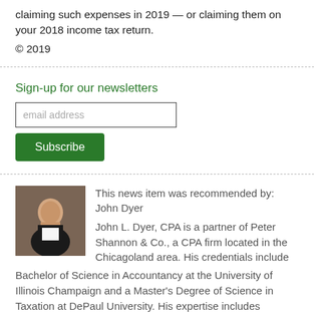claiming such expenses in 2019 — or claiming them on your 2018 income tax return.
© 2019
Sign-up for our newsletters
This news item was recommended by: John Dyer
John L. Dyer, CPA is a partner of Peter Shannon & Co., a CPA firm located in the Chicagoland area. His credentials include Bachelor of Science in Accountancy at the University of Illinois Champaign and a Master's Degree of Science in Taxation at DePaul University. His expertise includes taxation for high income individuals, estate, retirement and education planning, business